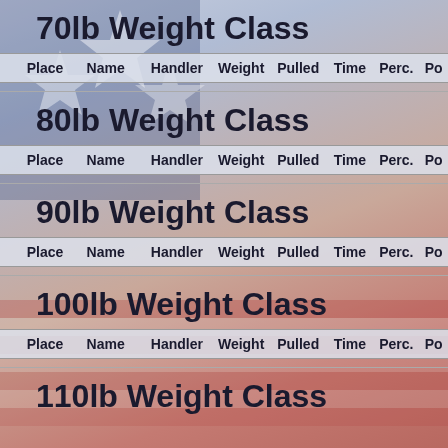70lb Weight Class
| Place | Name | Handler | Weight | Pulled | Time | Perc. | Po |
| --- | --- | --- | --- | --- | --- | --- | --- |
80lb Weight Class
| Place | Name | Handler | Weight | Pulled | Time | Perc. | Po |
| --- | --- | --- | --- | --- | --- | --- | --- |
90lb Weight Class
| Place | Name | Handler | Weight | Pulled | Time | Perc. | Po |
| --- | --- | --- | --- | --- | --- | --- | --- |
100lb Weight Class
| Place | Name | Handler | Weight | Pulled | Time | Perc. | Po |
| --- | --- | --- | --- | --- | --- | --- | --- |
110lb Weight Class